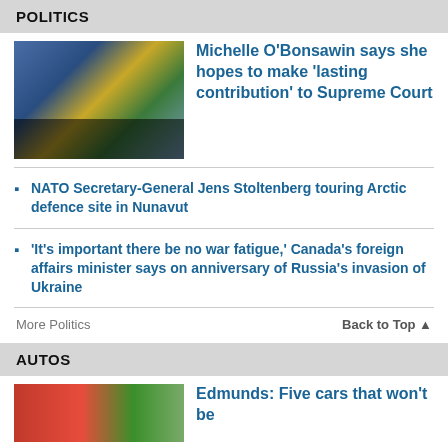POLITICS
[Figure (photo): Woman in black top in front of provincial/territorial flags]
Michelle O'Bonsawin says she hopes to make 'lasting contribution' to Supreme Court
NATO Secretary-General Jens Stoltenberg touring Arctic defence site in Nunavut
'It's important there be no war fatigue,' Canada's foreign affairs minister says on anniversary of Russia's invasion of Ukraine
More Politics
Back to Top ▲
AUTOS
[Figure (photo): Red car parked outdoors]
Edmunds: Five cars that won't be